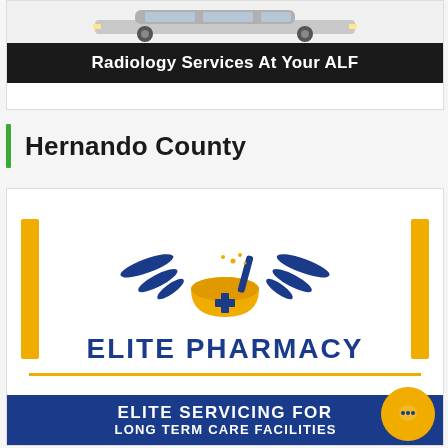[Figure (illustration): Ad banner showing a car illustration above a black bar reading 'Radiology Services At Your ALF']
Hernando County
[Figure (logo): Elite Pharmacy logo with winged mortar and pestle in gold/blue, text 'ELITE PHARMACY' and banner 'ELITE SERVICING FOR LONG TERM CARE FACILITIES']